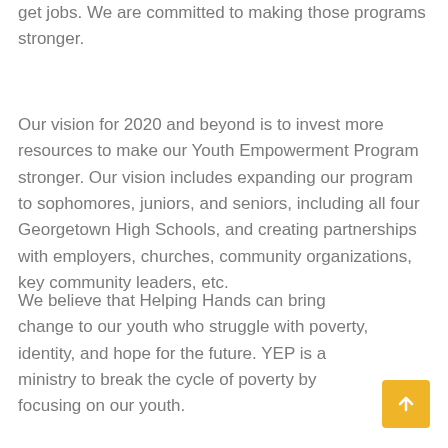get jobs. We are committed to making those programs stronger.
Our vision for 2020 and beyond is to invest more resources to make our Youth Empowerment Program stronger. Our vision includes expanding our program to sophomores, juniors, and seniors, including all four Georgetown High Schools, and creating partnerships with employers, churches, community organizations, key community leaders, etc.
We believe that Helping Hands can bring change to our youth who struggle with poverty, identity, and hope for the future. YEP is a ministry to break the cycle of poverty by focusing on our youth.